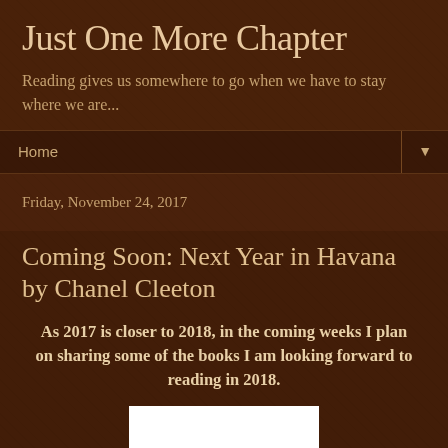Just One More Chapter
Reading gives us somewhere to go when we have to stay where we are...
Home ▼
Friday, November 24, 2017
Coming Soon: Next Year in Havana by Chanel Cleeton
As 2017 is closer to 2018, in the coming weeks I plan on sharing some of the books I am looking forward to reading in 2018.
[Figure (photo): White rectangular image placeholder at the bottom of the page]